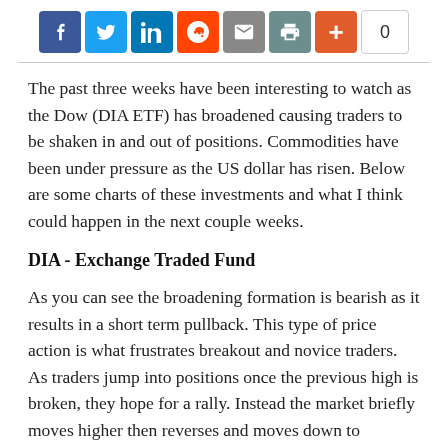[Figure (other): Social media share buttons bar: Facebook, Twitter, LinkedIn, Reddit, Email, Print, Plus, and a share count of 0]
The past three weeks have been interesting to watch as the Dow (DIA ETF) has broadened causing traders to be shaken in and out of positions. Commodities have been under pressure as the US dollar has risen. Below are some charts of these investments and what I think could happen in the next couple weeks.
DIA - Exchange Traded Fund
As you can see the broadening formation is bearish as it results in a short term pullback. This type of price action is what frustrates breakout and novice traders. As traders jump into positions once the previous high is broken, they hope for a rally. Instead the market briefly moves higher then reverses and moves down to penetrate the previous pivot low. This is where